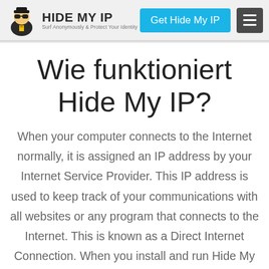HIDE MY IP | Surf Anonymously & Protect Your Identity | Get Hide My IP
Wie funktioniert Hide My IP?
When your computer connects to the Internet normally, it is assigned an IP address by your Internet Service Provider. This IP address is used to keep track of your communications with all websites or any program that connects to the Internet. This is known as a Direct Internet Connection. When you install and run Hide My IP on your computer, it will modify your Internet Connection Settings telling your computer to make